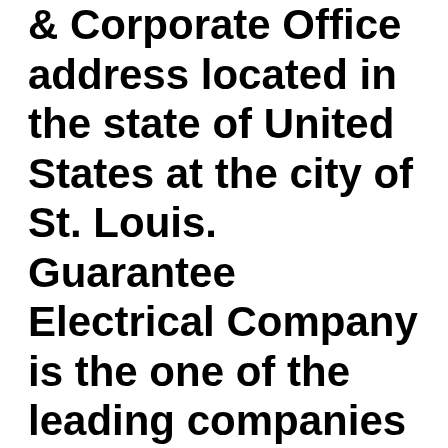& Corporate Office address located in the state of United States at the city of St. Louis. Guarantee Electrical Company is the one of the leading companies in its field. Guarantee Electrical Company phone 314-772-5400. Guarantee Electrical Company Headquarters